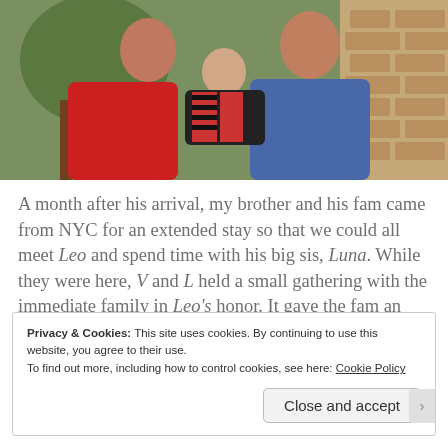[Figure (photo): Family photo showing a man in a blue shirt and woman in red holding a baby dressed in striped outfit, outdoors near stone wall and greenery]
A month after his arrival, my brother and his fam came from NYC for an extended stay so that we could all meet Leo and spend time with his big sis, Luna. While they were here, V and L held a small gathering with the immediate family in Leo's honor. It gave the fam an opportunity to give our blessings, best wishes and words of us advice to Leo.
Privacy & Cookies: This site uses cookies. By continuing to use this website, you agree to their use.
To find out more, including how to control cookies, see here: Cookie Policy
Close and accept